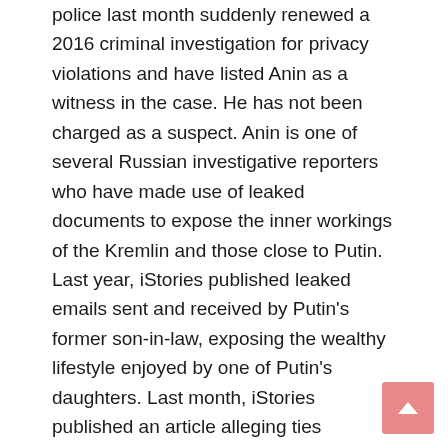police last month suddenly renewed a 2016 criminal investigation for privacy violations and have listed Anin as a witness in the case. He has not been charged as a suspect. Anin is one of several Russian investigative reporters who have made use of leaked documents to expose the inner workings of the Kremlin and those close to Putin. Last year, iStories published leaked emails sent and received by Putin's former son-in-law, exposing the wealthy lifestyle enjoyed by one of Putin's daughters. Last month, iStories published an article alleging ties between a senior FSB commander and the criminal underworld.
The editorial board of Novaya Gazeta, the newspaper that published the article in 2016